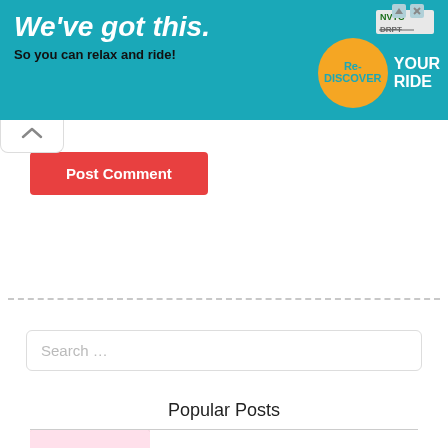[Figure (screenshot): Advertisement banner with teal background. Left side shows bold italic white text 'We've got this.' with subtext 'So you can relax and ride!' in dark. Right side shows NVTC and DRPT logos, an orange circle with 'Re-DISCOVER' text, and 'YOUR RIDE' in large white text.]
Post Comment
Search …
Popular Posts
10 Latest Pink Rose Background Wallpaper FULL HD 1920×1080 For PC Background